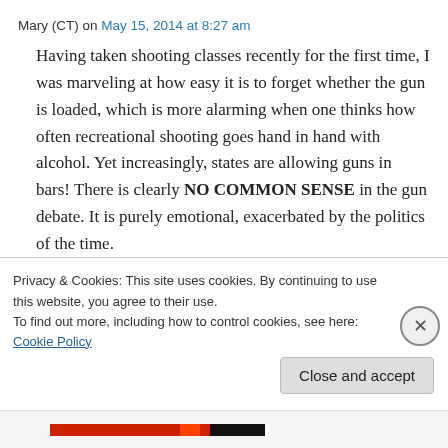Mary (CT) on May 15, 2014 at 8:27 am
Having taken shooting classes recently for the first time, I was marveling at how easy it is to forget whether the gun is loaded, which is more alarming when one thinks how often recreational shooting goes hand in hand with alcohol. Yet increasingly, states are allowing guns in bars! There is clearly NO COMMON SENSE in the gun debate. It is purely emotional, exacerbated by the politics of the time.
Privacy & Cookies: This site uses cookies. By continuing to use this website, you agree to their use.
To find out more, including how to control cookies, see here: Cookie Policy
Close and accept